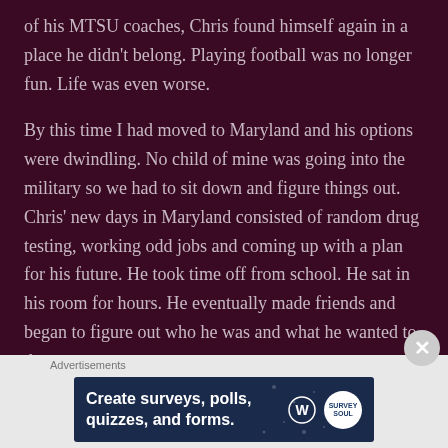of his MTSU coaches, Chris found himself again in a place he didn't belong. Playing football was no longer fun. Life was even worse.
By this time I had moved to Maryland and his options were dwindling. No child of mine was going into the military so we had to sit down and figure things out. Chris' new days in Maryland consisted of random drug testing, working odd jobs and coming up with a plan for his future. He took time off from school. He sat in his room for hours. He eventually made friends and began to figure out who he was and what he wanted to do.
[Figure (screenshot): Advertisement banner with text 'Create surveys, polls, quizzes, and forms.' on dark navy background with WordPress and SurveySoul logos]